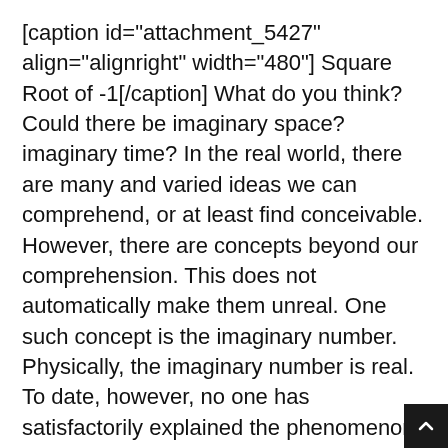[caption id="attachment_5427" align="alignright" width="480"] Square Root of -1[/caption] What do you think? Could there be imaginary space? imaginary time? In the real world, there are many and varied ideas we can comprehend, or at least find conceivable. However, there are concepts beyond our comprehension. This does not automatically make them unreal. One such concept is the imaginary number. Physically, the imaginary number is real. To date, however, no one has satisfactorily explained the phenomenon. Simplest Case The simplest imaginary number is the square root of –1. Does that sound like it should be no problem? Well, the square root of 1 has two values: –1 and 1. That can be proven. 1 x 1 = 1, right? A 1 x –1 = 1, right? Well, what number n is there,...